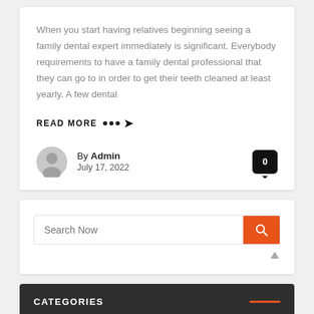When you start having relatives beginning seeing a family dental expert immediately is significant. Everybody requirements to have a family dental professional that they can go to in order to get their teeth cleaned at least yearly. A few dental
READ MORE •••➜
By Admin
July 17, 2022
Search Now
CATEGORIES